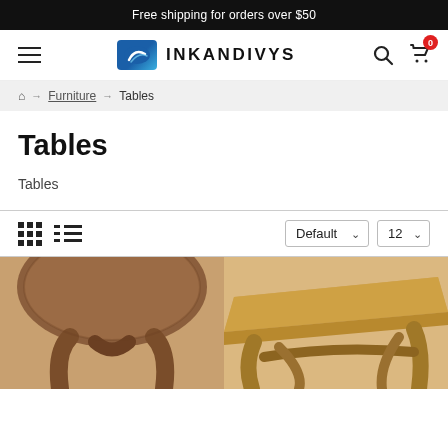Free shipping for orders over $50
[Figure (logo): INKANDIVYS brand logo with blue graphic emblem and bold text]
⌂ → Furniture → Tables
Tables
Tables
Default  12
[Figure (photo): Two wooden tables partially visible at bottom of page — left table has dark walnut finish with curved base, right table has lighter oak finish with geometric base]